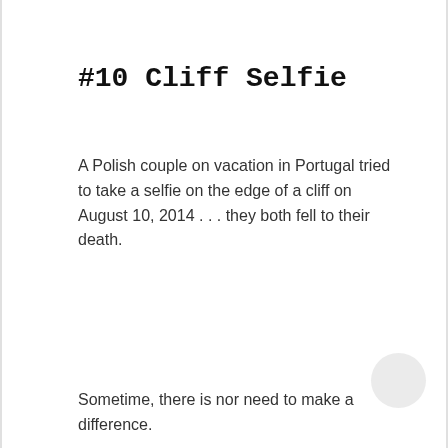#10 Cliff Selfie
A Polish couple on vacation in Portugal tried to take a selfie on the edge of a cliff on August 10, 2014 . . . they both fell to their death.
Sometime, there is nor need to make a difference.